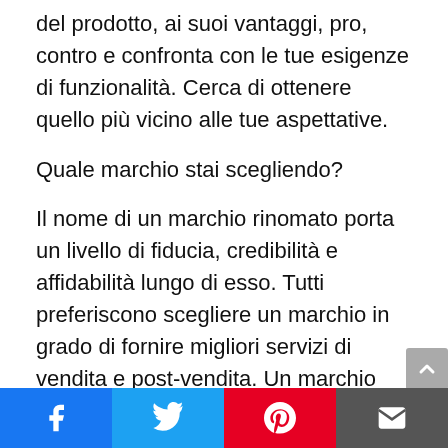del prodotto, ai suoi vantaggi, pro, contro e confronta con le tue esigenze di funzionalità. Cerca di ottenere quello più vicino alle tue aspettative.
Quale marchio stai scegliendo?
Il nome di un marchio rinomato porta un livello di fiducia, credibilità e affidabilità lungo di esso. Tutti preferiscono scegliere un marchio in grado di fornire migliori servizi di vendita e post-vendita. Un marchio non solo è una garanzia della qualità, ma rende l'accesso ancora più conveniente.
Pensa, il tuo Fullmetal Alchemist Brotherhood ha incontrato un incidente subito dopo uno o due mesi del…
[Figure (other): Social share footer bar with Facebook, Twitter, Pinterest, and email icons]